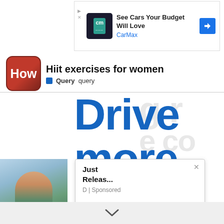[Figure (screenshot): CarMax advertisement banner with logo, text 'See Cars Your Budget Will Love', 'CarMax', and a blue diamond arrow icon. Play and close (X) controls on left.]
Hiit exercises for women
Query  query
[Figure (screenshot): Large blue bold text reading 'Drive more online' partially visible, with faint watermark text overlay on right side. Below is a popup ad saying 'Just Releas... D | Sponsored' with an X close button, and a thumbnail photo of a woman on the left. A chevron/down arrow at the very bottom.]